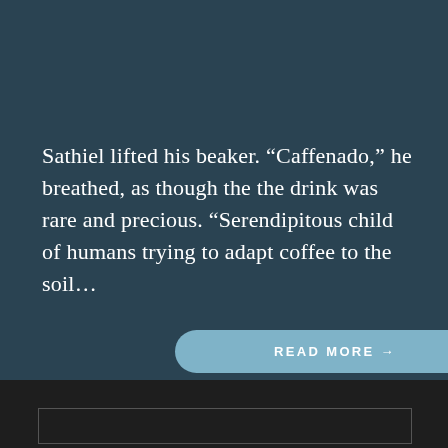Sathiel lifted his beaker. “Caffenado,” he breathed, as though the the drink was rare and precious. “Serendipitous child of humans trying to adapt coffee to the soil...
READ MORE →